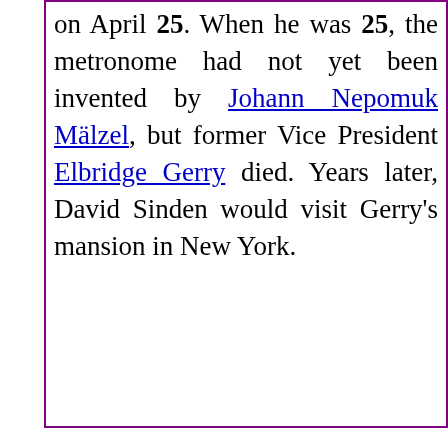on April 25. When he was 25, the metronome had not yet been invented by Johann Nepomuk Mälzel, but former Vice President Elbridge Gerry died. Years later, David Sinden would visit Gerry's mansion in New York.
My son's middle name will probably be Nepomuk.
Benjamin Harrison, the 23rd President, was born on my birthday, August 20, in 1833. That same year, Oberlin College, my alma mater, was founded. Twenty-three years later, some Madiera wine was brewed in a bathtub. David